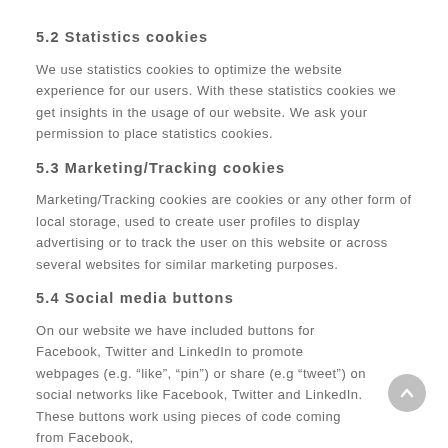5.2 Statistics cookies
We use statistics cookies to optimize the website experience for our users. With these statistics cookies we get insights in the usage of our website. We ask your permission to place statistics cookies.
5.3 Marketing/Tracking cookies
Marketing/Tracking cookies are cookies or any other form of local storage, used to create user profiles to display advertising or to track the user on this website or across several websites for similar marketing purposes.
5.4 Social media buttons
On our website we have included buttons for Facebook, Twitter and LinkedIn to promote webpages (e.g. “like”, “pin”) or share (e.g “tweet”) on social networks like Facebook, Twitter and LinkedIn. These buttons work using pieces of code coming from Facebook,